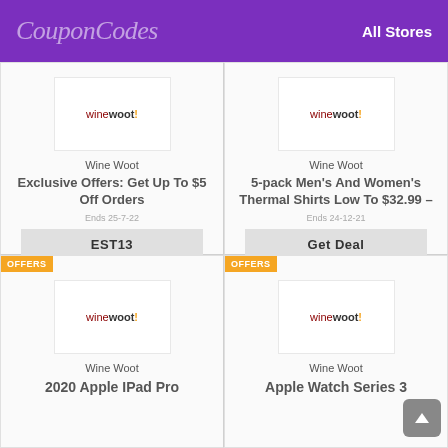CouponCodes  All Stores
[Figure (logo): Wine Woot logo in card 1]
Wine Woot
Exclusive Offers: Get Up To $5 Off Orders
Ends 25-7-22
EST13
[Figure (logo): Wine Woot logo in card 2]
Wine Woot
5-pack Men's And Women's Thermal Shirts Low To $32.99 –
Ends 24-12-21
Get Deal
OFFERS
[Figure (logo): Wine Woot logo in card 3]
Wine Woot
2020 Apple IPad Pro
OFFERS
[Figure (logo): Wine Woot logo in card 4]
Wine Woot
Apple Watch Series 3